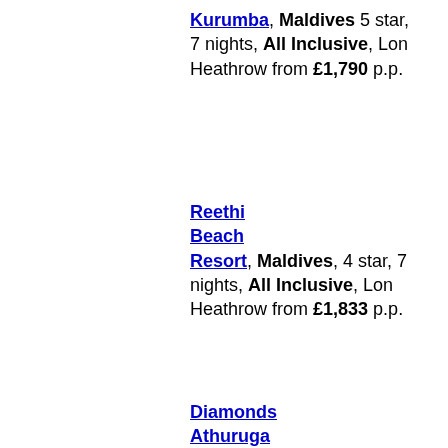Kurumba, Maldives 5 star, 7 nights, All Inclusive, Lon Heathrow from £1,790 p.p.
Reethi Beach Resort, Maldives, 4 star, 7 nights, All Inclusive, Lon Heathrow from £1,833 p.p.
Diamonds Athuruga Beach &